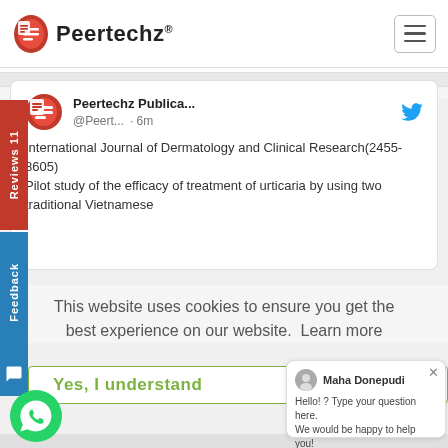Peertechz®
PEERTECHZ TWEETS
Peertechz Publica... @Peert... · 6m
International Journal of Dermatology and Clinical Research(2455-8605)
Pilot study of the efficacy of treatment of urticaria by using two traditional Vietnamese
This website uses cookies to ensure you get the best experience on our website. Learn more
Yes, I understand
Maha Donepudi
Hello! ? Type your question here. We would be happy to help you!